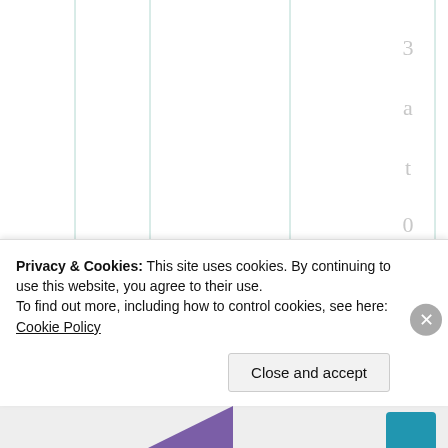[Figure (other): Partial view of a chart with vertical column dividers shown as thin teal/green lines against white background. Right side shows a rotated timestamp '3 a t 0 6 : 0 3' and italic letters 'I l o' below it, all in light gray serif font.]
Privacy & Cookies: This site uses cookies. By continuing to use this website, you agree to their use.
To find out more, including how to control cookies, see here: Cookie Policy
Close and accept